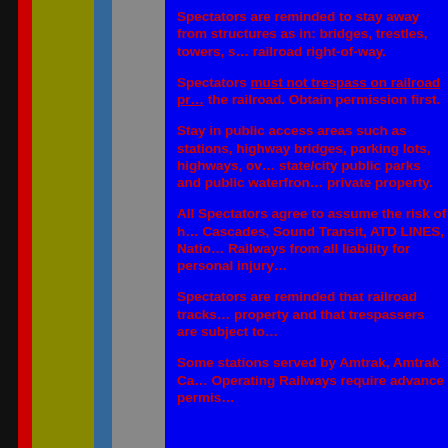Spectators are reminded to stay away from structures as in: bridges, trestles, towers, s... railroad right-of-way.
Spectators must not trespass on railroad pr... the railroad. Obtain permission first.
Stay in public access areas such as stations, highway bridges, parking lots, highways, ov... state/city public parks and public waterfron... private property.
All Spectators agree to assume the risk of h... Cascades, Sound Transit, ATD LINES, Natio... Railways from all liability for personal injury...
Spectators are reminded that railroad tracks... property and that trespassers are subject to...
Some stations served by Amtrak, Amtrak Ca... Operating Railways require advance permis...